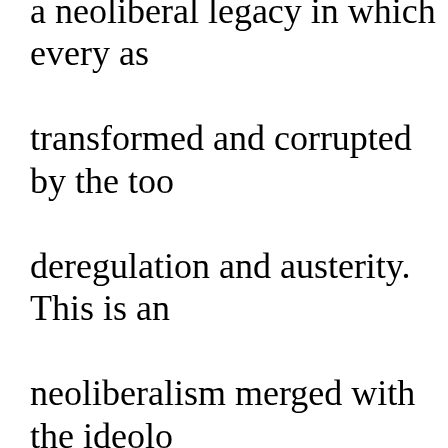a neoliberal legacy in which every as transformed and corrupted by the too deregulation and austerity. This is an neoliberalism merged with the ideolo politics of disposability — an age in divorced from social costs, all the wh cleansing and white nationalism to b public sphere and an established moo We are leaving in this which th